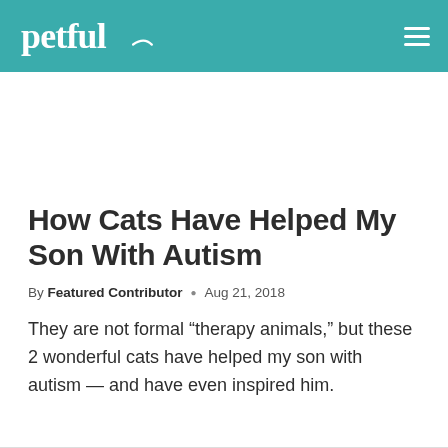petful
How Cats Have Helped My Son With Autism
By Featured Contributor • Aug 21, 2018
They are not formal “therapy animals,” but these 2 wonderful cats have helped my son with autism — and have even inspired him.